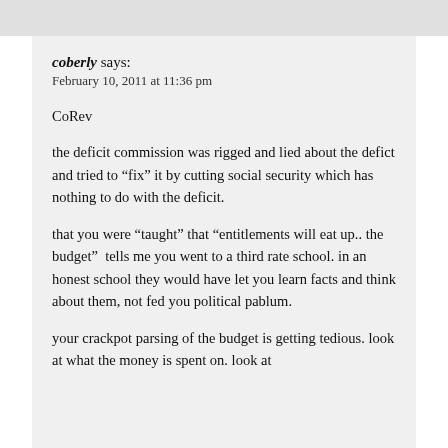coberly says:
February 10, 2011 at 11:36 pm
CoRev
the deficit commission was rigged and lied about the defict and tried to “fix” it by cutting social security which has nothing to do with the deficit.

that you were “taught” that “entitlements will eat up.. the budget”  tells me you went to a third rate school. in an honest school they would have let you learn facts and think about them, not fed you political pablum.

your crackpot parsing of the budget is getting tedious. look at what the money is spent on. look at